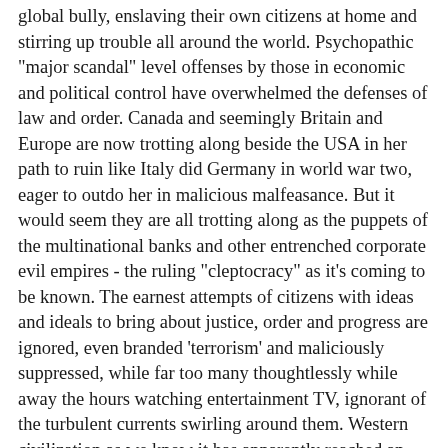global bully, enslaving their own citizens at home and stirring up trouble all around the world. Psychopathic "major scandal" level offenses by those in economic and political control have overwhelmed the defenses of law and order. Canada and seemingly Britain and Europe are now trotting along beside the USA in her path to ruin like Italy did Germany in world war two, eager to outdo her in malicious malfeasance. But it would seem they are all trotting along as the puppets of the multinational banks and other entrenched corporate evil empires - the ruling "cleptocracy" as it's coming to be known. The earnest attempts of citizens with ideas and ideals to bring about justice, order and progress are ignored, even branded 'terrorism' and maliciously suppressed, while far too many thoughtlessly while away the hours watching entertainment TV, ignorant of the turbulent currents swirling around them. Western civilization as we know it has apparently reached an evolutionary dead end.
With the new interconnectedness of the internet, people around the world are just starting to wake up to the fact that